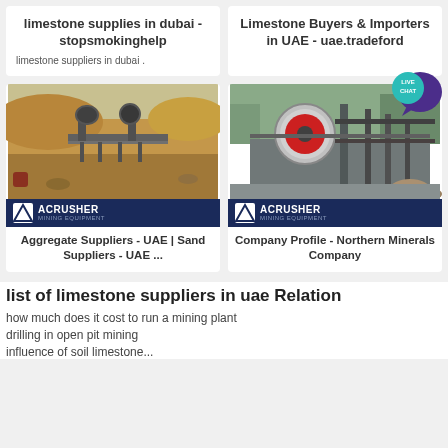limestone supplies in dubai - stopsmokinghelp
limestone suppliers in dubai .
Limestone Buyers & Importers in UAE - uae.tradeford
[Figure (photo): Mining quarry site with crushers, ACRUSHER Mining Equipment logo overlay]
Aggregate Suppliers - UAE | Sand Suppliers - UAE ...
[Figure (photo): Industrial crusher equipment on platform, ACRUSHER Mining Equipment logo overlay]
Company Profile - Northern Minerals Company
list of limestone suppliers in uae Relation
how much does it cost to run a mining plant
drilling in open pit mining
influence of soil limestone...